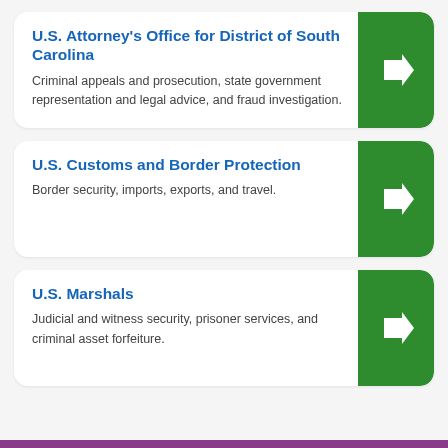U.S. Attorney's Office for District of South Carolina
Criminal appeals and prosecution, state government representation and legal advice, and fraud investigation.
U.S. Customs and Border Protection
Border security, imports, exports, and travel.
U.S. Marshals
Judicial and witness security, prisoner services, and criminal asset forfeiture.